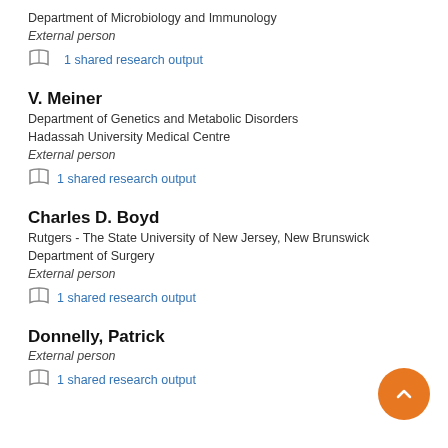Department of Microbiology and Immunology
External person
1 shared research output
V. Meiner
Department of Genetics and Metabolic Disorders
Hadassah University Medical Centre
External person
1 shared research output
Charles D. Boyd
Rutgers - The State University of New Jersey, New Brunswick
Department of Surgery
External person
1 shared research output
Donnelly, Patrick
External person
1 shared research output